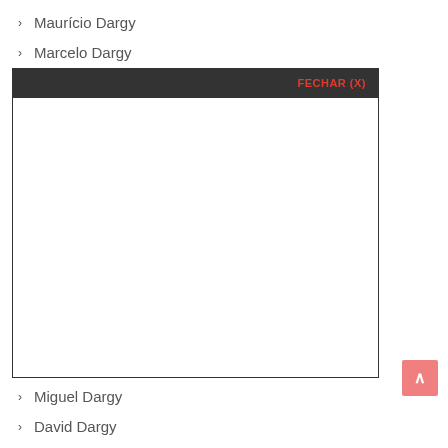Maurício Dargy
Marcelo Dargy
[Figure (screenshot): Modal dialog with dark header bar containing red bold text 'FECHAR (X)' and a white content area body]
Miguel Dargy
David Dargy